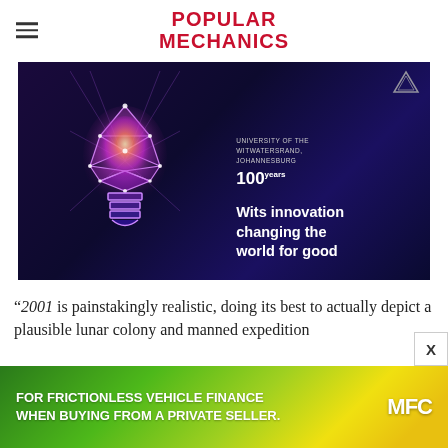POPULAR MECHANICS
[Figure (illustration): Wits University advertisement showing a glowing geometric lightbulb on dark purple/blue background with text 'Wits innovation changing the world for good' and University of the Witwatersrand Johannesburg 100 logo]
“2001 is painstakingly realistic, doing its best to actually depict a plausible lunar colony and manned expedition
[Figure (illustration): MFC advertisement banner: 'FOR FRICTIONLESS VEHICLE FINANCE WHEN BUYING FROM A PRIVATE SELLER.' on green/yellow gradient background with MFC logo]